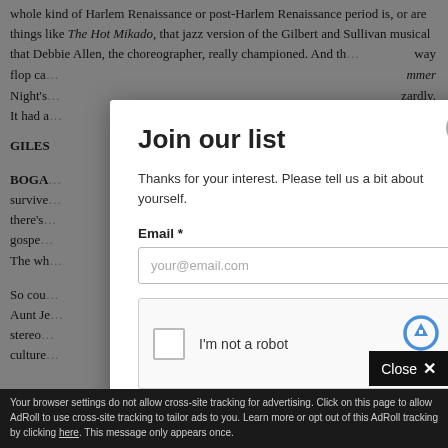whole kind of Harlem Renaissance or post-Harlem Renaissance period is, or are things like The Hot Mikado, that jazz version of the Gilbert and Sullivan musical that Debbie Allen, the choreographer, really championed. And th... way flop ca... mmer Night's... zardly. It had a... g.
GILES
BOGA... how survived... there's... a gospe... ebt. The wh...
So cou... it or Aunt Je... stereo... in the culture...
Join our list
Thanks for your interest. Please tell us a bit about yourself.
Email *
your@email.com
I'm not a robot
reCAPTCHA
Privacy · Terms
Sign me up
Close ×
Your browser settings do not allow cross-site tracking for advertising. Click on this page to allow AdRoll to use cross-site tracking to tailor ads to you. Learn more or opt out of this AdRoll tracking by clicking here. This message only appears once.